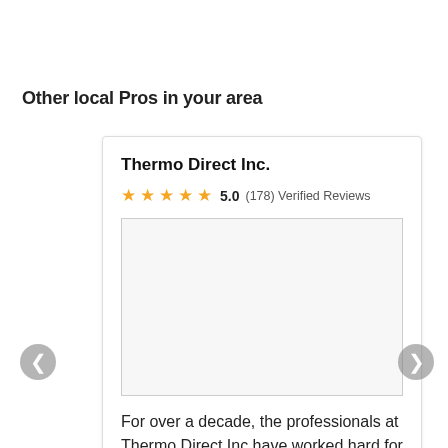Other local Pros in your area
Thermo Direct Inc.
5.0 (178) Verified Reviews
[Figure (photo): Empty image placeholder box for Thermo Direct Inc. business photo]
For over a decade, the professionals at Thermo Direct Inc have worked hard for our friends and